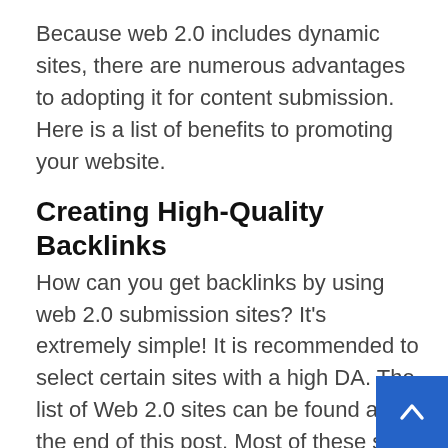Because web 2.0 includes dynamic sites, there are numerous advantages to adopting it for content submission. Here is a list of benefits to promoting your website.
Creating High-Quality Backlinks
How can you get backlinks by using web 2.0 submission sites? It's extremely simple! It is recommended to select certain sites with a high DA. The list of Web 2.0 sites can be found at the end of this post. Most of these sites allow you to include a URL in your postings, which will aid in backlink building.
The higher the DA of your web 2.0 sites, more relevant backlinks you will generate for